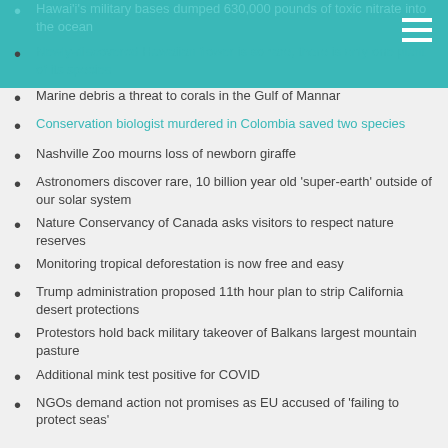Hawai'i's military bases dumped 630,000 pounds of toxic nitrate into the ocean
Newly-discovered Hawaiian flower is so rare, there is only one plant of its species
Marine debris a threat to corals in the Gulf of Mannar
Conservation biologist murdered in Colombia saved two species
Nashville Zoo mourns loss of newborn giraffe
Astronomers discover rare, 10 billion year old 'super-earth' outside of our solar system
Nature Conservancy of Canada asks visitors to respect nature reserves
Monitoring tropical deforestation is now free and easy
Trump administration proposed 11th hour plan to strip California desert protections
Protestors hold back military takeover of Balkans largest mountain pasture
Additional mink test positive for COVID
NGOs demand action not promises as EU accused of 'failing to protect seas'